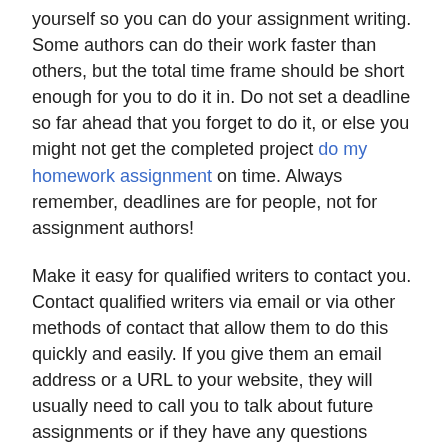yourself so you can do your assignment writing. Some authors can do their work faster than others, but the total time frame should be short enough for you to do it in. Do not set a deadline so far ahead that you forget to do it, or else you might not get the completed project do my homework assignment on time. Always remember, deadlines are for people, not for assignment authors!
Make it easy for qualified writers to contact you. Contact qualified writers via email or via other methods of contact that allow them to do this quickly and easily. If you give them an email address or a URL to your website, they will usually need to call you to talk about future assignments or if they have any questions regarding your contract.
Communicate often with writers through the website. In case of queries, you can answer them